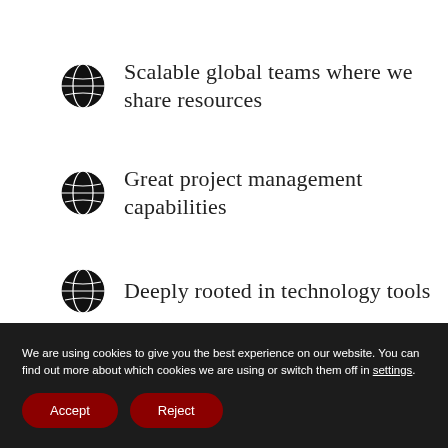Scalable global teams where we share resources
Great project management capabilities
Deeply rooted in technology tools
We are using cookies to give you the best experience on our website. You can find out more about which cookies we are using or switch them off in settings.
Accept  Reject